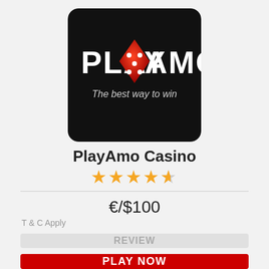[Figure (logo): PlayAmo Casino logo on black background with red dice and tagline 'The best way to win']
PlayAmo Casino
★★★★½ (4.5 stars)
€/$100
T & C Apply
REVIEW
PLAY NOW